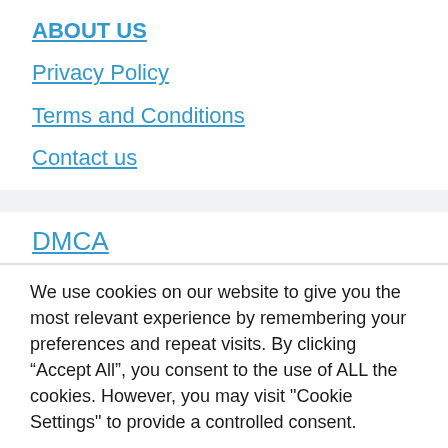ABOUT US
Privacy Policy
Terms and Conditions
Contact us
DMCA
We use cookies on our website to give you the most relevant experience by remembering your preferences and repeat visits. By clicking “Accept All”, you consent to the use of ALL the cookies. However, you may visit "Cookie Settings" to provide a controlled consent.
Cookie Settings  Accept All